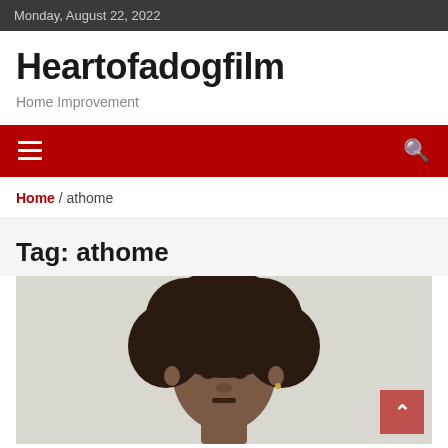Monday, August 22, 2022
Heartofadogfilm
Home Improvement
[Figure (other): Red navigation bar with hamburger menu icon on left and search icon on right]
Home / athome
Tag: athome
[Figure (photo): Photo of a young Black man with an afro hairstyle, light grey background, looking at camera with neutral expression]